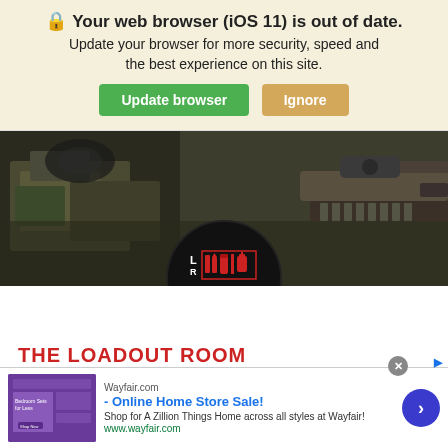🔒 Your web browser (iOS 11) is out of date. Update your browser for more security, speed and the best experience on this site.
[Figure (screenshot): Browser update warning banner with green 'Update browser' button and tan 'Ignore' button on a cream/tan background]
[Figure (photo): Hero image showing military/tactical gear including camo vest, headphones, and rifle with rail system, dark background]
[Figure (logo): The Loadout Room logo: black circle with red and white icon of gun parts and text LOADOUT ROOM]
THE LOADOUT ROOM
The Loadout Room is a shopping depot specializing in outdoor adventure
[Figure (screenshot): Wayfair advertisement banner: 'Wayfair.com - Online Home Store Sale! Shop for A Zillion Things Home across all styles at Wayfair! www.wayfair.com' with purple bedroom sets thumbnail and blue arrow button]